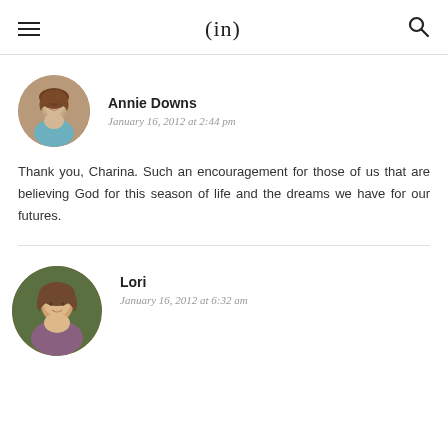(in)
Annie Downs
January 16, 2012 at 2:44 pm
Thank you, Charina. Such an encouragement for those of us that are believing God for this season of life and the dreams we have for our futures.
Lori
January 16, 2012 at 6:32 am